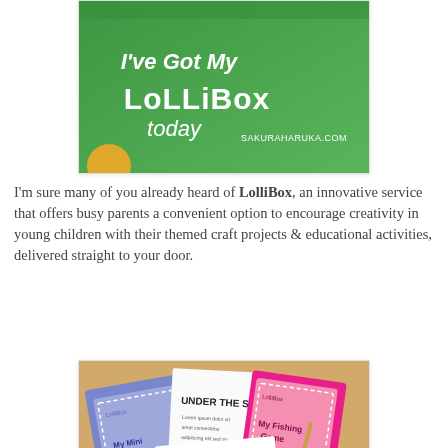[Figure (photo): Green box with white text reading 'I've Got My LolliBox today' and 'SAKURAHARUKA.COM']
I'm sure many of you already heard of LolliBox, an innovative service that offers busy parents a convenient option to encourage creativity in young children with their themed craft projects & educational activities, delivered straight to your door.
[Figure (photo): Contents of a LolliBox showing booklets and activity sheets including 'My Mini Aquarium', 'UNDER THE SEA', 'My Fishing Game', and 'Sea Animals Template']